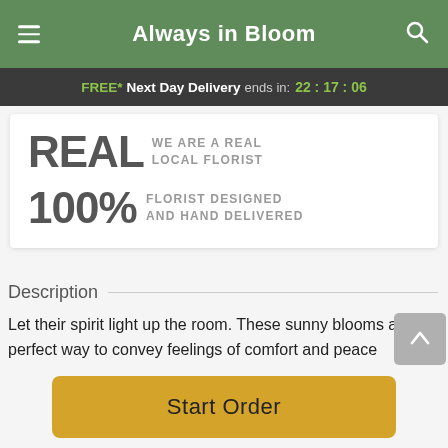Always in Bloom
FREE* Next Day Delivery ends in: 22:17:06
[Figure (infographic): Card with two rows: 'REAL - WE ARE A REAL LOCAL FLORIST' and '100% - FLORIST DESIGNED AND HAND DELIVERED']
Description
Let their spirit light up the room. These sunny blooms are the perfect way to convey feelings of comfort and peace
Start Order